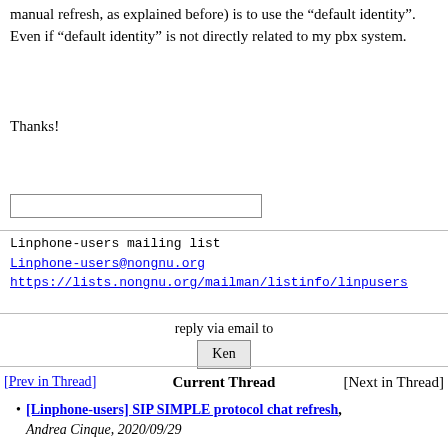manual refresh, as explained before) is to use the “default identity”. Even if “default identity” is not directly related to my pbx system.
Thanks!
[Figure (other): Empty text input box]
Linphone-users mailing list
Linphone-users@nongnu.org
https://lists.nongnu.org/mailman/listinfo/linphone-users
reply via email to
Ken
[Prev in Thread]	Current Thread	[Next in Thread]
[Linphone-users] SIP SIMPLE protocol chat refresh, Andrea Cinque, 2020/09/29